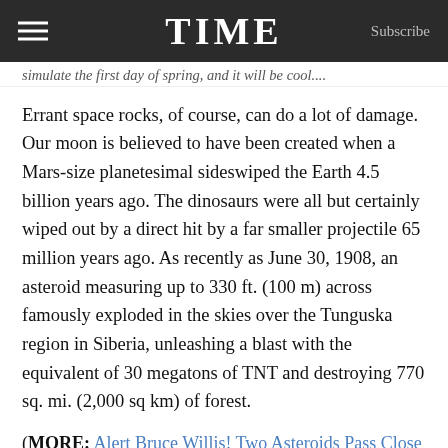TIME  Subscribe
simulate the first day of spring, and it will be cool...
Errant space rocks, of course, can do a lot of damage. Our moon is believed to have been created when a Mars-size planetesimal sideswiped the Earth 4.5 billion years ago. The dinosaurs were all but certainly wiped out by a direct hit by a far smaller projectile 65 million years ago. As recently as June 30, 1908, an asteroid measuring up to 330 ft. (100 m) across famously exploded in the skies over the Tunguska region in Siberia, unleashing a blast with the equivalent of 30 megatons of TNT and destroying 770 sq. mi. (2,000 sq km) of forest.
(MORE: Alert Bruce Willis! Two Asteroids Pass Close to Earth)
What has a lot of cosmic worriers glancing skyward this month is the announcement that on Feb. 15, a 148-ft.-long (45 m) asteroid